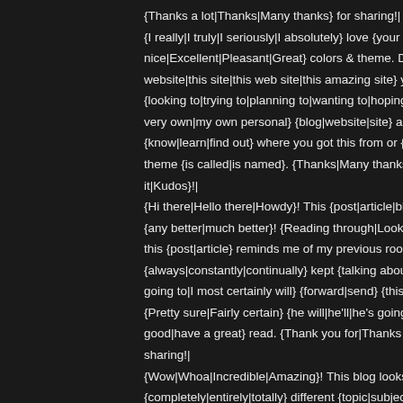{Thanks a lot|Thanks|Many thanks} for sharing!| {I really|I truly|I seriously|I absolutely} love {your blog|your site nice|Excellent|Pleasant|Great} colors & theme. Did you {crea website|this site|this web site|this amazing site} yourself? Ple {looking to|trying to|planning to|wanting to|hoping to|attemptin very own|my own personal} {blog|website|site} and {would lik {know|learn|find out} where you got this from or {what the|exa theme {is called|is named}. {Thanks|Many thanks|Thank you| it|Kudos}!| {Hi there|Hello there|Howdy}! This {post|article|blog post} {cou {any better|much better}! {Reading through|Looking at|Going this {post|article} reminds me of my previous roommate! He {always|constantly|continually} kept {talking about|preaching a going to|I most certainly will} {forward|send} {this article|this in {Pretty sure|Fairly certain} {he will|he'll|he's going to} {have a good|have a great} read. {Thank you for|Thanks for|Many tha sharing!| {Wow|Whoa|Incredible|Amazing}! This blog looks {exactly|jus {completely|entirely|totally} different {topic|subject} but it has p {layout|page layout} and design. {Excellent|Wonderful|Great|C of colors!| {There is|There's} {definately|certainly} {a lot to|a great deal to